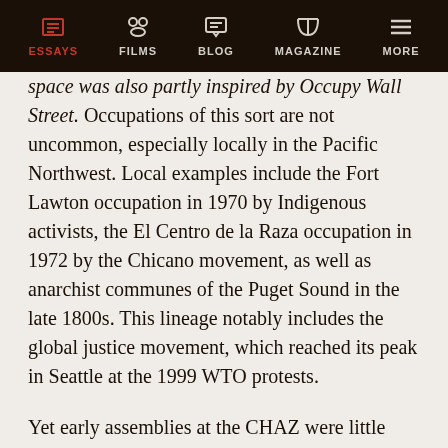ESSAYS | FILMS | BLOG | MAGAZINE | MORE
space was also partly inspired by Occupy Wall Street. Occupations of this sort are not uncommon, especially locally in the Pacific Northwest. Local examples include the Fort Lawton occupation in 1970 by Indigenous activists, the El Centro de la Raza occupation in 1972 by the Chicano movement, as well as anarchist communes of the Puget Sound in the late 1800s. This lineage notably includes the global justice movement, which reached its peak in Seattle at the 1999 WTO protests.
Yet early assemblies at the CHAZ were little more than open mics. The masses of people who showed up on any given day were rarely on the same page about how to conduct a meeting, what our common goals were and how to achieve them, or the legitimacy of the decisions made within the assemblies. We worked with friends from other groups to announce a regular meeting time for democratic assemblies and to teach CHAZ participants about the